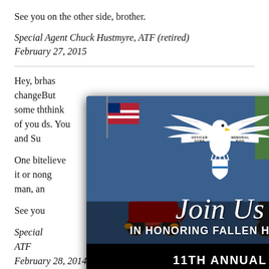See you on the other side, brother.
Special Agent Chuck Hustmyre, ATF (retired)
February 27, 2015
Hey, br... has change... But some th... think of you c... s. You and Su...
One bit... elieve it or no... ng man, an...
See yo...
Special... ATF
February 28, 2014
[Figure (infographic): Officer Down Memorial Ride popup modal. Shows motorcycles in background. Eagle logo with banner reading OFFICER DOWN MEMORIAL RIDE. Text: Join Us IN HONORING FALLEN HEROES. 11TH ANNUAL OFFICER DOWN MEMORIAL RIDE SEPTEMBER 24, 2022. Red REGISTER NOW button. Close X button top right.]
My heart still breaks. I thought it would eventually hurt